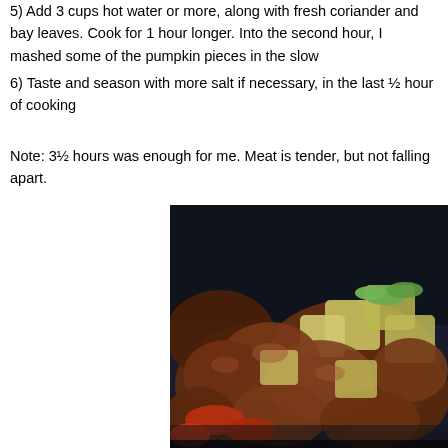5) Add 3 cups hot water or more, along with fresh coriander and bay leaves. Cook for 1 hour longer. Into the second hour, I mashed some of the pumpkin pieces in the slow
6) Taste and season with more salt if necessary, in the last ½ hour of cooking
Note: 3½ hours was enough for me. Meat is tender, but not falling apart.
[Figure (photo): A dark pan or wok filled with braised meat pieces and cubed pumpkin/potato, with visible red peppers and green onion garnish, photographed close-up.]